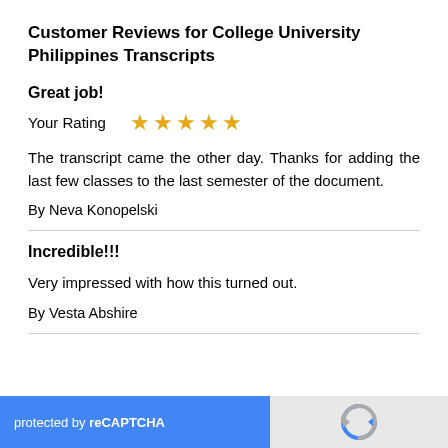Customer Reviews for College University Philippines Transcripts
Great job!
Your Rating  ★★★★★
The transcript came the other day. Thanks for adding the last few classes to the last semester of the document.
By Neva Konopelski
Incredible!!!
Very impressed with how this turned out.
By Vesta Abshire
[Figure (other): reCAPTCHA widget with blue 'protected by reCAPTCHA' bar and grey logo section]